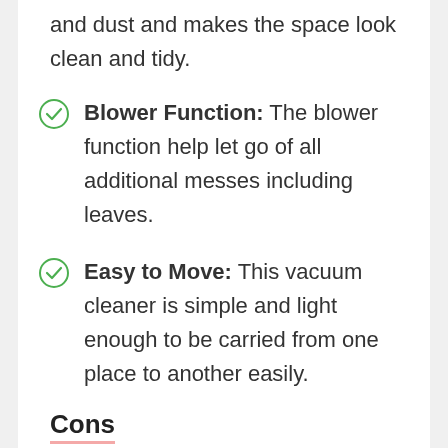and dust and makes the space look clean and tidy.
Blower Function: The blower function help let go of all additional messes including leaves.
Easy to Move: This vacuum cleaner is simple and light enough to be carried from one place to another easily.
Cons